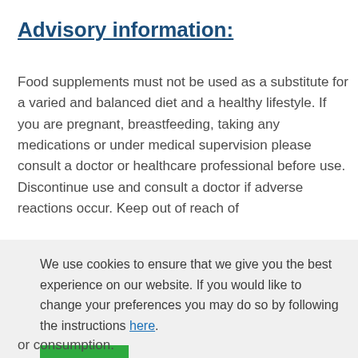Advisory information:
Food supplements must not be used as a substitute for a varied and balanced diet and a healthy lifestyle. If you are pregnant, breastfeeding, taking any medications or under medical supervision please consult a doctor or healthcare professional before use. Discontinue use and consult a doctor if adverse reactions occur. Keep out of reach of
We use cookies to ensure that we give you the best experience on our website. If you would like to change your preferences you may do so by following the instructions here.
OK
or consumption.